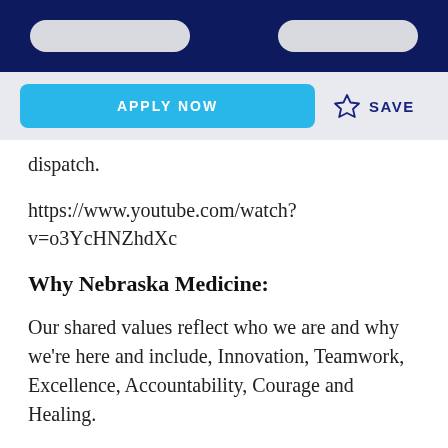dispatch.
https://www.youtube.com/watch?v=o3YcHNZhdXc
Why Nebraska Medicine:
Our shared values reflect who we are and why we're here and include, Innovation, Teamwork, Excellence, Accountability, Courage and Healing.
Competitive Benefits including retirement